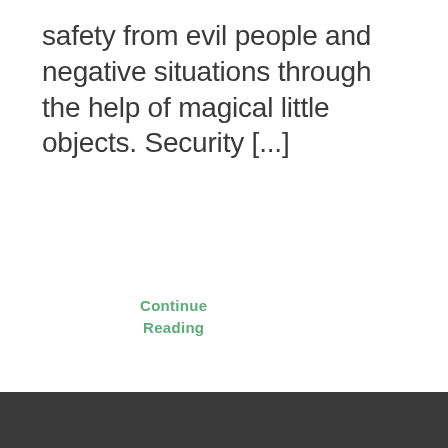safety from evil people and negative situations through the help of magical little objects. Security [...]
Continue Reading